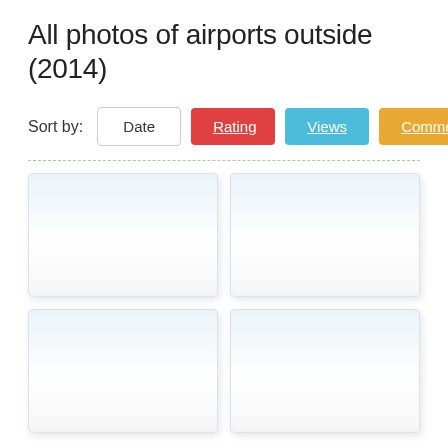All photos of airports outside (2014)
Sort by: Date | Rating | Views | Comments
[Figure (photo): Empty photo card placeholder 1 (top-left)]
[Figure (photo): Empty photo card placeholder 2 (top-right)]
[Figure (photo): Empty photo card placeholder 3 (bottom-left)]
[Figure (photo): Empty photo card placeholder 4 (bottom-right)]